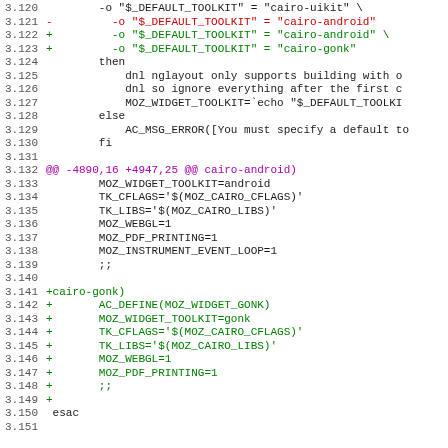[Figure (screenshot): Code diff viewer showing lines 3.120-3.151 of a shell/autoconf script related to cairo toolkit configuration. Lines include red (removed) and green (added) diff markers, and a magenta hunk header. Content includes DEFAULT_TOOLKIT settings, cairo-android, cairo-gonk entries, and MOZ_ variable assignments.]